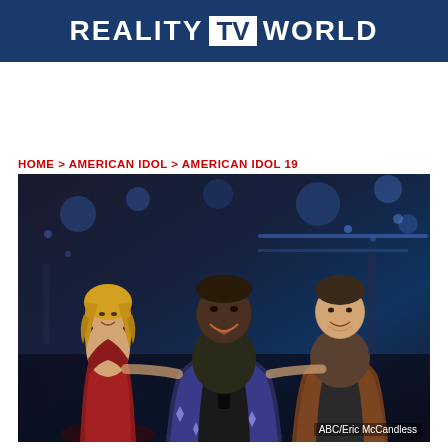REALITY TV WORLD
HOME > AMERICAN IDOL > AMERICAN IDOL 19
[Figure (photo): Three American Idol Season 19 contestants smiling together on stage. Left: a woman in a red velvet dress with blonde wavy hair. Center: a large man in a sparkling blue/silver jacket over a black shirt with a silver chain necklace. Right: a man in a rust/brown suede jacket over a dark shirt. Stage lighting visible in background.]
ABC/Eric McCandless